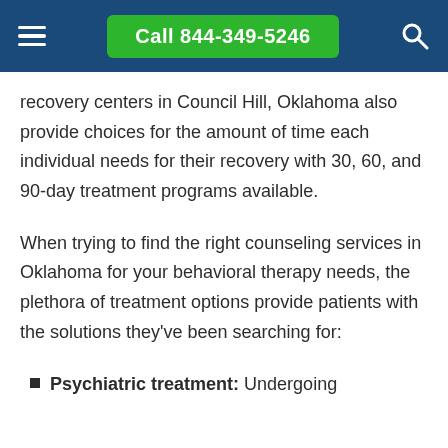Call 844-349-5246
recovery centers in Council Hill, Oklahoma also provide choices for the amount of time each individual needs for their recovery with 30, 60, and 90-day treatment programs available.
When trying to find the right counseling services in Oklahoma for your behavioral therapy needs, the plethora of treatment options provide patients with the solutions they've been searching for:
Psychiatric treatment: Undergoing